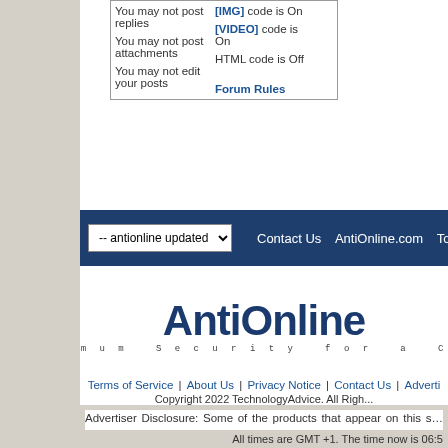| You may not post replies | [IMG] code is On |
| You may not post attachments | [VIDEO] code is On |
| You may not edit your posts | HTML code is Off |
|  | Forum Rules |
[Figure (screenshot): Navigation bar with dropdown '-- antionline updated' and links: Contact Us, AntiOnline.com, Top]
[Figure (logo): AntiOnline logo with text 'Maximum Security for a Connected World']
Terms of Service | About Us | Privacy Notice | Contact Us | Adverti...
Copyright 2022 TechnologyAdvice. All Righ...
Advertiser Disclosure: Some of the products that appear on this s... TechnologyAdvice receives compensation. This compensation ma... appear on this site including, for example, the order in which they... include all companies or all types of products available in the marko...
All times are GMT +1. The time now is 06:5...